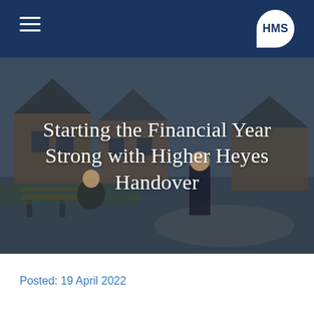HMS
[Figure (photo): Two men standing in front of newly built brick houses with a park bench in the foreground. The scene is a residential development site with landscaped grounds.]
Starting the Financial Year Strong with Higher Heyes Handover
Posted: 19 April 2022